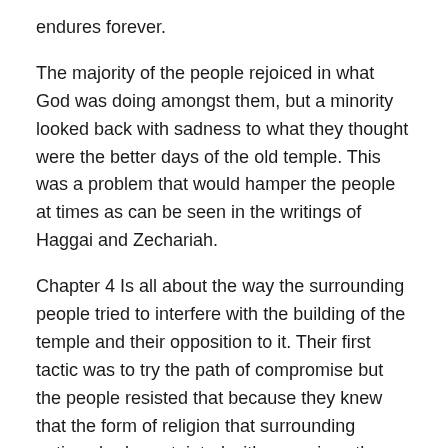endures forever.
The majority of the people rejoiced in what God was doing amongst them, but a minority looked back with sadness to what they thought were the better days of the old temple. This was a problem that would hamper the people at times as can be seen in the writings of Haggai and Zechariah.
Chapter 4 Is all about the way the surrounding people tried to interfere with the building of the temple and their opposition to it. Their first tactic was to try the path of compromise but the people resisted that because they knew that the form of religion that surrounding nations had was tainted with paganism, they knew that to compromise here would destroy all that were meant to be doing. This uncompromising attitude provoked the hostility of their enemies and brought about an enforced halt to the work